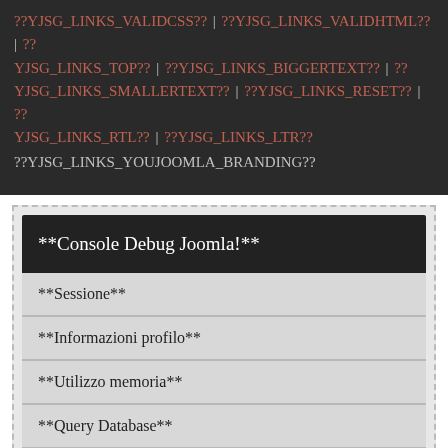??YJSG_LINKS_VALIDCSS?? | ??YJSG_LINKS_VALIDHTML?? | ??YJSG_LINKS_TOP?? | ??YJSG_LINKS_BIGGERTEXT?? | ??YJSG_LINKS_SMALLERTEXT?? | ??YJSG_LINKS_RESET?? | ??YJSG_LINKS_RTL?? | ??YJSG_LINKS_LTR?? ??YJSG_LINKS_YOUJOOMLA_BRANDING??
**Console Debug Joomla!**
**Sessione**
**Informazioni profilo**
**Utilizzo memoria**
**Query Database**
**Errori nei file di lingua da analizzare**
**File lingua caricati**
**Stringhe non tradotte**